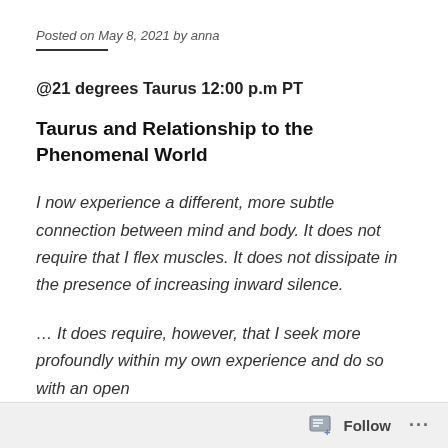Posted on May 8, 2021 by anna
@21 degrees Taurus 12:00 p.m PT
Taurus and Relationship to the Phenomenal World
I now experience a different, more subtle connection between mind and body. It does not require that I flex muscles. It does not dissipate in the presence of increasing inward silence.
… It does require, however, that I seek more profoundly within my own experience and do so with an open
Follow ...